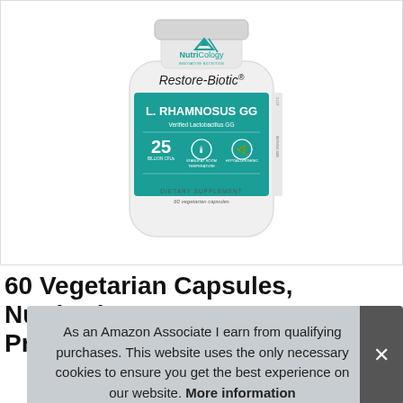[Figure (photo): NutriCology Restore-Biotic L. Rhamnosus GG supplement bottle. White bottle with teal/green label showing: NutriCology logo at top, 'Restore-Biotic' product name, teal banner with 'L. RHAMNOSUS GG / Verified Lactobacillus GG', 25 Billion CFUs, Stable at Room Temperature, Hypoallergenic icons, 'DIETARY SUPPLEMENT / 60 vegetarian capsules' at bottom.]
60 Vegetarian Capsules, NutriCology Restore-Biotic Probiotic...
As an Amazon Associate I earn from qualifying purchases. This website uses the only necessary cookies to ensure you get the best experience on our website. More information